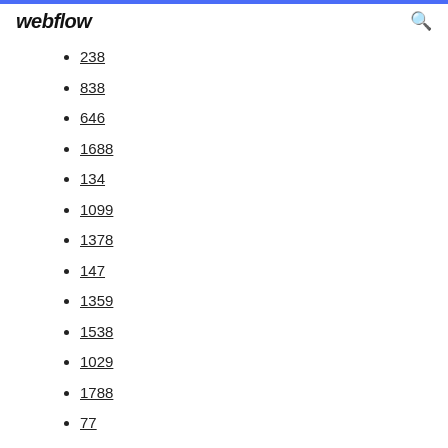webflow
238
838
646
1688
134
1099
1378
147
1359
1538
1029
1788
77